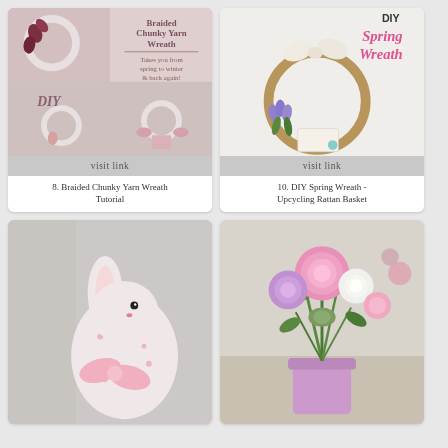[Figure (photo): Braided chunky yarn wreath DIY tutorial collage showing wreaths and text overlay]
visit link
8. Braided Chunky Yarn Wreath Tutorial
[Figure (photo): DIY Spring Wreath made from upcycled rattan basket with lavender flowers and cream bow]
visit link
10. DIY Spring Wreath - Upcycling Rattan Basket
[Figure (photo): Fabric bunny with floral print and pink ribbon bow]
[Figure (photo): Pink and purple flowers arranged in a lavender painted pot on a table]